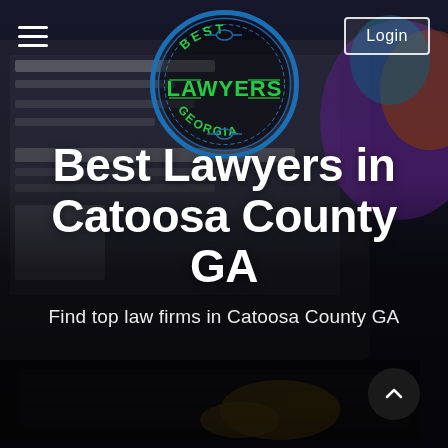[Figure (screenshot): Hero background showing a person typing on a laptop in a dark setting, with a blurred colorful monitor in the background. Dark overlay applied for text legibility.]
[Figure (logo): Best Lawyers Georgia circular badge logo with blue ring, green text reading BEST on top, LAWYERS in large green letters across center, GEORGIA along bottom, with ornate decorative elements.]
Login
Best Lawyers in Catoosa County GA
Find top law firms in Catoosa County GA